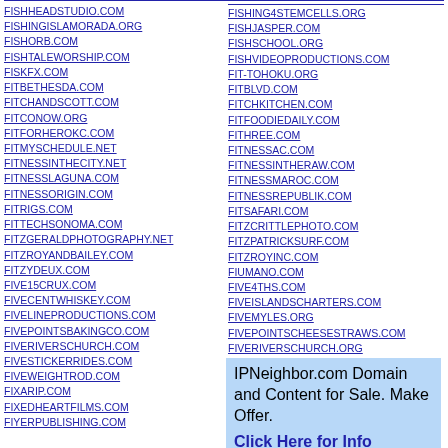FISHHEADSTUDIO.COM
FISHINGISLAMORADA.ORG
FISHORB.COM
FISHTALEWORSHIP.COM
FISKFX.COM
FITBETHESDA.COM
FITCHANDSCOTT.COM
FITCONOW.ORG
FITFORHEROKC.COM
FITMYSCHEDULE.NET
FITNESSINTHECITY.NET
FITNESSLAGUNA.COM
FITNESSORIGIN.COM
FITRIGS.COM
FITTECHSONOMA.COM
FITZGERALDPHOTOGRAPHY.NET
FITZROYANDBAILEY.COM
FITZYDEUX.COM
FIVE15CRUX.COM
FIVECENTWHISKEY.COM
FIVELINEPRODUCTIONS.COM
FIVEPOINTSBAKINGCO.COM
FIVERIVERSCHURCH.COM
FIVESTICKERRIDES.COM
FIVEWEIGHTROD.COM
FIXARIP.COM
FIXEDHEARTFILMS.COM
FIYERPUBLISHING.COM
FISHING4STEMCELLS.ORG
FISHJASPER.COM
FISHSCHOOL.ORG
FISHVIDEOPRODUCTIONS.COM
FIT-TOHOKU.ORG
FITBLVD.COM
FITCHKITCHEN.COM
FITFOODIEDAILY.COM
FITHREE.COM
FITNESSAC.COM
FITNESSINTHERAW.COM
FITNESSMAROC.COM
FITNESSREPUBLIK.COM
FITSAFARI.COM
FITZCRITTLEPHOTO.COM
FITZPATRICKSURF.COM
FITZROYINC.COM
FIUMANO.COM
FIVE4THS.COM
FIVEISLANDSCHARTERS.COM
FIVEMYLES.ORG
FIVEPOINTSCHEESESTRAWS.COM
FIVERIVERSCHURCH.ORG
IPNeighbor.com Domain and Content for Sale. Make Offer. Click Here for Info